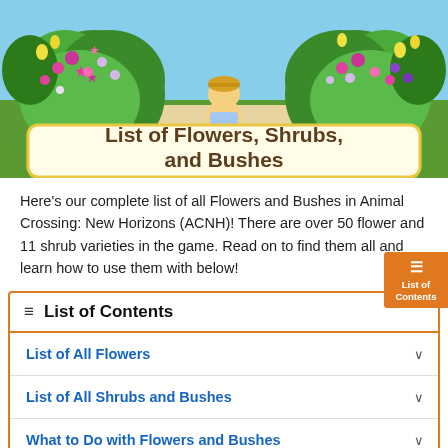[Figure (screenshot): Animal Crossing: New Horizons game screenshot showing a character among green bushes with colorful star-shaped flowers, with a title banner overlay reading 'List of Flowers, Shrubs, and Bushes']
List of Flowers, Shrubs, and Bushes
Here's our complete list of all Flowers and Bushes in Animal Crossing: New Horizons (ACNH)! There are over 50 flower and 11 shrub varieties in the game. Read on to find them all and learn how to use them with below!
List of Contents
List of All Flowers
List of All Shrubs and Bushes
What to Do with Flowers and Bushes